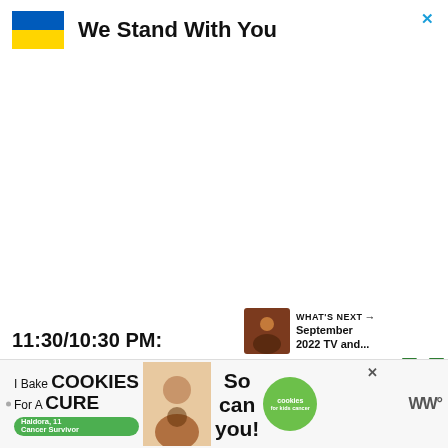[Figure (infographic): Ukraine solidarity banner with Ukrainian flag (blue and yellow) and text 'We Stand With You' with close button X]
11:30/10:30 PM:
[Figure (infographic): What's Next section with thumbnail image and text: WHAT'S NEXT → September 2022 TV and...]
[Figure (infographic): Advertisement banner: I Bake COOKIES For A CURE - Haldora, 11 Cancer Survivor - So can you! - cookies for kids cancer]